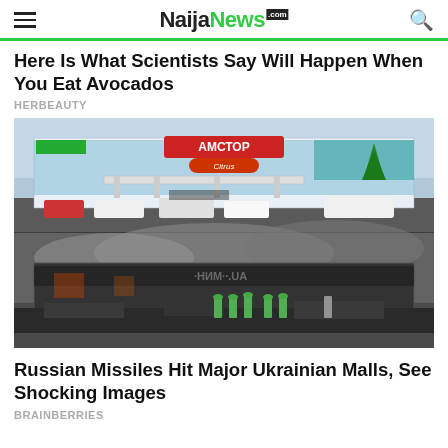NaijaNEWS.com
Here Is What Scientists Say Will Happen When You Eat Avocados
HERBEAUTY
[Figure (photo): Two stacked photos: top shows Амстор shopping mall exterior before attack with cars parked outside and a Christmas tree; bottom shows the same or similar Ukrainian mall destroyed by fire with firefighters working amid rubble and smoke.]
Russian Missiles Hit Major Ukrainian Malls, See Shocking Images
BRAINBERRIES